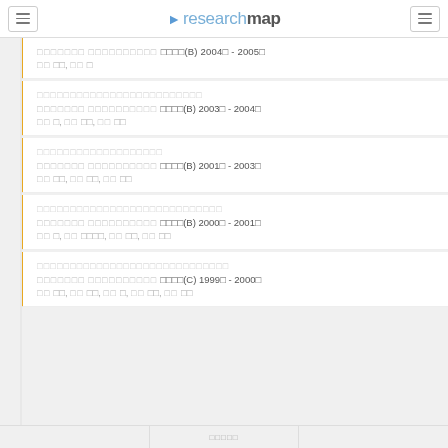researchmap
□□□□□□□ □□□□□□□□□□ □□□□(B) 2004□ - 2005□
□□ □□, □□ □
□□□□□□□□□□□□□□□□□□□□□□□□□
□□□□□□□ □□□□□□□□□□ □□□□(B) 2003□ - 2004□
□□ □, □□ □□, □□ □□
□□□□□□□□□□□□□□□□□□□
□□□□□□□ □□□□□□□□□□ □□□□(B) 2001□ - 2003□
□□ □□, □□ □□, □□ □□
□□□□□□□□□□□□□□□□□□□□□□□□□□□□
□□□□□□□ □□□□□□□□□□ □□□□(B) 2000□ - 2001□
□□ □, □□ □□□□, □□ □□, □□ □□
□□□□□□□□□□□□□□□□□□□□□□□□□□□□□
□□□□□□□ □□□□□□□□□□ □□□□(C) 1999□ - 2000□
□□ □□, □□ □□, □□ □, □□ □□, □□ □□